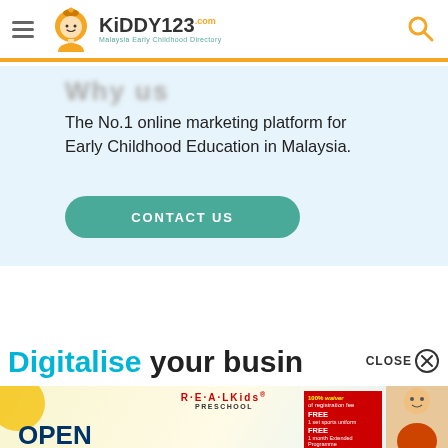[Figure (logo): Kiddy123.com Malaysia Early Childhood Directory logo with hamburger menu and search icon]
The No.1 online marketing platform for Early Childhood Education in Malaysia.
CONTACT US
Digitalise your busin
CLOSE
[Figure (advertisement): REAL Kids Preschool Open Day advertisement with offers: 100% waiver of registration fee, FREE 1 set sports uniform, FREE 1 month Extended Programme]